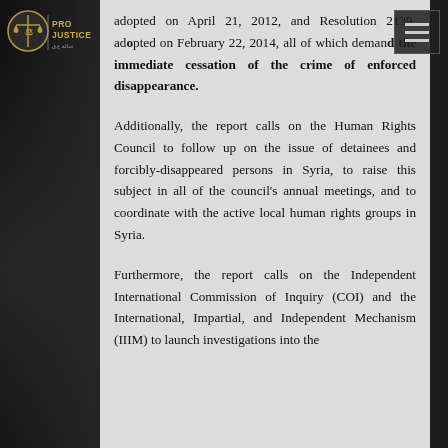Pro Justice logo and navigation menu
adopted on April 21, 2012, and Resolution 2139, adopted on February 22, 2014, all of which demand the immediate cessation of the crime of enforced disappearance.
Additionally, the report calls on the Human Rights Council to follow up on the issue of detainees and forcibly-disappeared persons in Syria, to raise this subject in all of the council's annual meetings, and to coordinate with the active local human rights groups in Syria.
Furthermore, the report calls on the Independent International Commission of Inquiry (COI) and the International, Impartial, and Independent Mechanism (IIIM) to launch investigations into the